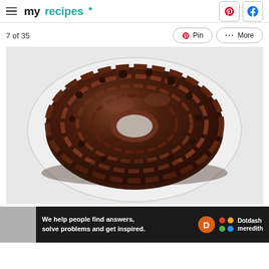myrecipes — Pinterest, Facebook social buttons
7 of 35
[Figure (photo): Overhead view of a chocolate glazed bundt cake on a glass plate with white background]
We help people find answers, solve problems and get inspired. Dotdash meredith